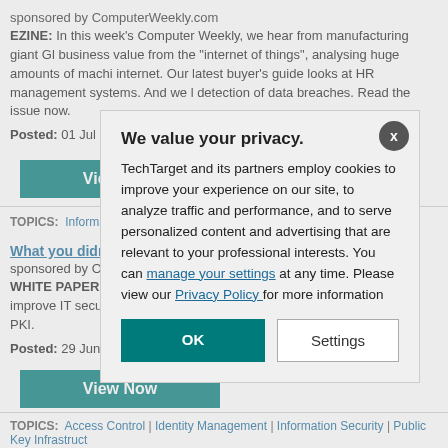sponsored by ComputerWeekly.com
EZINE: In this week's Computer Weekly, we hear from manufacturing giant Gl business value from the "internet of things", analysing huge amounts of machi internet. Our latest buyer's guide looks at HR management systems. And we l detection of data breaches. Read the issue now.
Posted: 01 Jul 2013 | Published: 02 Jul 2013
View Now
TOPICS: Information Se
What you didn't know
sponsored by OpenT
WHITE PAPER: You improve IT security o PKI.
Posted: 29 Jun 201
View Now
TOPICS: Access Control | Identity Management | Information Security | Public Key Infrastruct
We value your privacy. TechTarget and its partners employ cookies to improve your experience on our site, to analyze traffic and performance, and to serve personalized content and advertising that are relevant to your professional interests. You can manage your settings at any time. Please view our Privacy Policy for more information